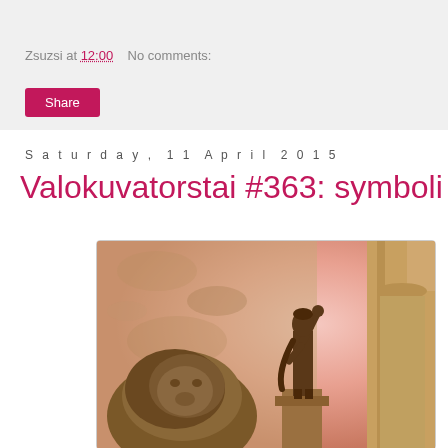Zsuzsi at 12:00    No comments:
Share
Saturday, 11 April 2015
Valokuvatorstai #363: symboli
[Figure (photo): A sepia/pink-toned photograph showing a classical statue of a figure with arm raised, surrounded by architectural columns, with a large sculptural head or lion in the foreground. The image has warm amber and pink tones.]